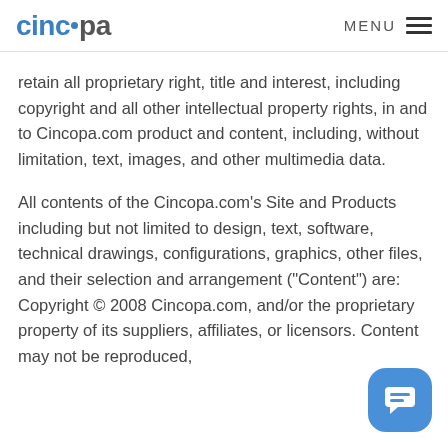cincopa  MENU
retain all proprietary right, title and interest, including copyright and all other intellectual property rights, in and to Cincopa.com product and content, including, without limitation, text, images, and other multimedia data.
All contents of the Cincopa.com’s Site and Products including but not limited to design, text, software, technical drawings, configurations, graphics, other files, and their selection and arrangement (“Content”) are: Copyright © 2008 Cincopa.com, and/or the proprietary property of its suppliers, affiliates, or licensors. Content may not be reproduced,